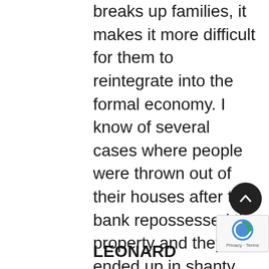breaks up families, it makes it more difficult for them to reintegrate into the formal economy. I know of several cases where people were thrown out of their houses after the bank repossessed the property and they ended up in shanty towns. The courts in South Africa have a reputation for being the debt collection agents of the banks, is this a deserved reputation and if so, why?
LEONARD BENJAMIN: I don't necessarily agree with that, I think that it is a bit of a hit and miss situation and I think that at times the courts have been very inflexible in how they've dealt with matters but generally what you've got to realise, and I don't know how you